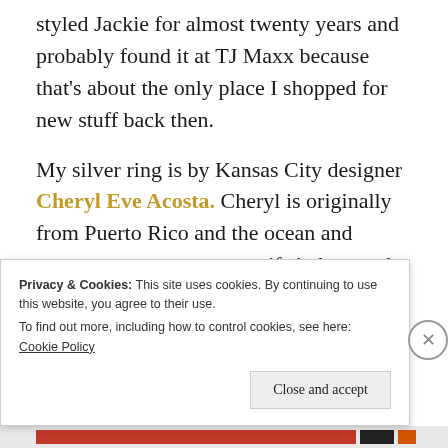styled Jackie for almost twenty years and probably found it at TJ Maxx because that's about the only place I shopped for new stuff back then.
My silver ring is by Kansas City designer Cheryl Eve Acosta. Cheryl is originally from Puerto Rico and the ocean and nature are very strong motifs in her work. My ring is a small ocean wave. Her work is beautiful and I hope you check out her designs because she is astounding (and has the awards to back it up).
Privacy & Cookies: This site uses cookies. By continuing to use this website, you agree to their use. To find out more, including how to control cookies, see here: Cookie Policy